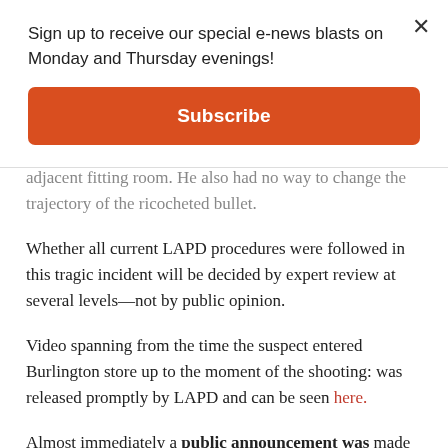Sign up to receive our special e-news blasts on Monday and Thursday evenings!
Subscribe
adjacent fitting room. He also had no way to change the trajectory of the ricocheted bullet.
Whether all current LAPD procedures were followed in this tragic incident will be decided by expert review at several levels—not by public opinion.
Video spanning from the time the suspect entered Burlington store up to the moment of the shooting: was released promptly by LAPD and can be seen here.
Almost immediately a public announcement was made by civil rights attorney Ben Crump that a news conference